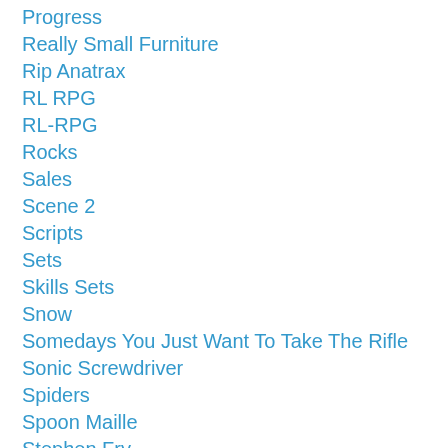Progress
Really Small Furniture
Rip Anatrax
RL RPG
RL-RPG
Rocks
Sales
Scene 2
Scripts
Sets
Skills Sets
Snow
Somedays You Just Want To Take The Rifle
Sonic Screwdriver
Spiders
Spoon Maille
Stephen Fry
Stop Motion
Stop Motion Animation
Stop Motion Animation.
Storytelling